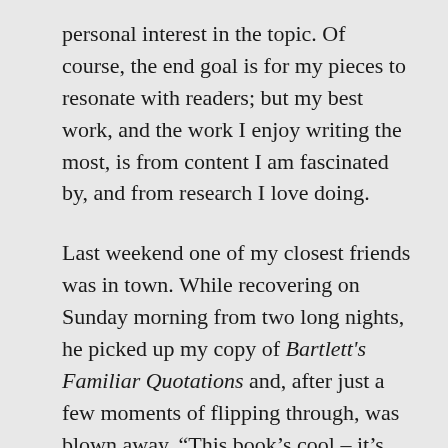personal interest in the topic. Of course, the end goal is for my pieces to resonate with readers; but my best work, and the work I enjoy writing the most, is from content I am fascinated by, and from research I love doing.

Last weekend one of my closest friends was in town. While recovering on Sunday morning from two long nights, he picked up my copy of Bartlett's Familiar Quotations and, after just a few moments of flipping through, was blown away. “This book’s cool – it’s instantly significant. It makes you want to learn about each one of these people,” he said. And he’s right, that book was one of the reasons I